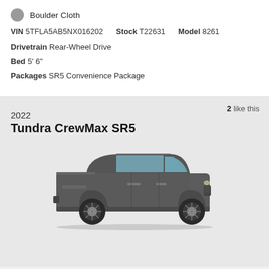Boulder Cloth
VIN 5TFLA5AB5NX016202   Stock T22631   Model 8261
Drivetrain Rear-Wheel Drive
Bed 5'6"
Packages SR5 Convenience Package
2 like this
2022
Tundra CrewMax SR5
[Figure (photo): Side profile of a dark gray 2022 Toyota Tundra CrewMax SR5 pickup truck]